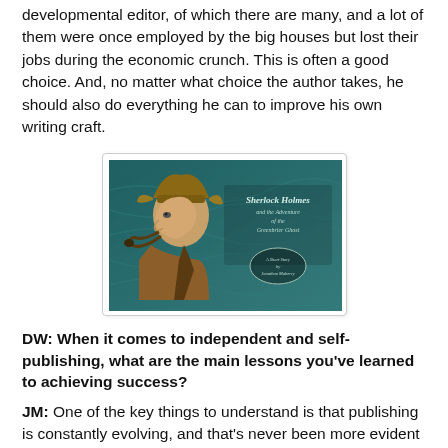developmental editor, of which there are many, and a lot of them were once employed by the big houses but lost their jobs during the economic crunch. This is often a good choice. And, no matter what choice the author takes, he should also do everything he can to improve his own writing craft.
[Figure (illustration): Book cover illustration showing Sherlock Holmes in profile wearing a deerstalker hat and holding a pipe, with the title 'Sherlock Holmes and the Adventure of the Greenbrier Ghost' on a teal/dark background, subtitled 'A Short Story by Jonathan Maberry']
DW: When it comes to independent and self-publishing, what are the main lessons you've learned to achieving success?
JM: One of the key things to understand is that publishing is constantly evolving, and that's never been more evident than during the recent e-pub boom. The old paradigms are cracked and they're leaking good writers and good money...